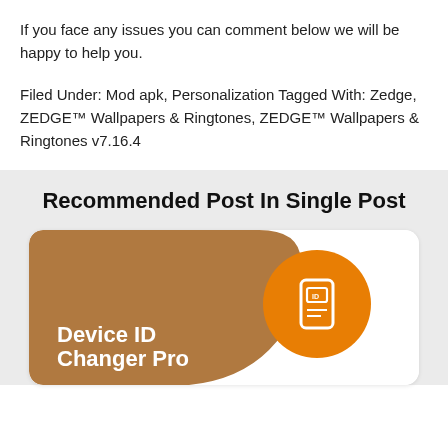If you face any issues you can comment below we will be happy to help you.
Filed Under: Mod apk, Personalization Tagged With: Zedge, ZEDGE™ Wallpapers & Ringtones, ZEDGE™ Wallpapers & Ringtones v7.16.4
Recommended Post In Single Post
[Figure (illustration): Card image for Device ID Changer Pro app with brown/tan blob background shape and orange circle with phone/ID icon on the right side]